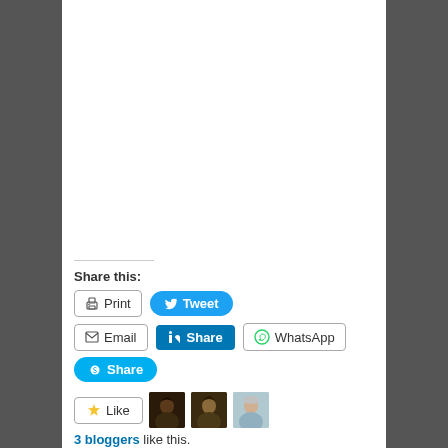Share this:
Print
Tweet
Email
Share
WhatsApp
Share
Like
3 bloggers like this.